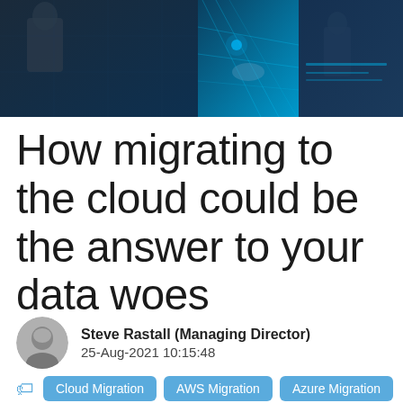[Figure (photo): Header banner image showing technology/cloud computing themed visuals with blue digital network graphics and business people in dark tones]
How migrating to the cloud could be the answer to your data woes
Steve Rastall (Managing Director)
25-Aug-2021 10:15:48
Cloud Migration  AWS Migration  Azure Migration